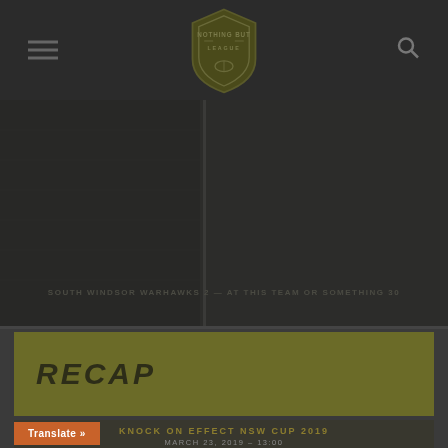Nothing But League
[Figure (photo): Hero banner image showing a rugby league match, South Windsor Warhawks vs another team, dark tinted]
RECAP
KNOCK ON EFFECT NSW CUP 2019
MARCH 23, 2019 – 13:00
(2)